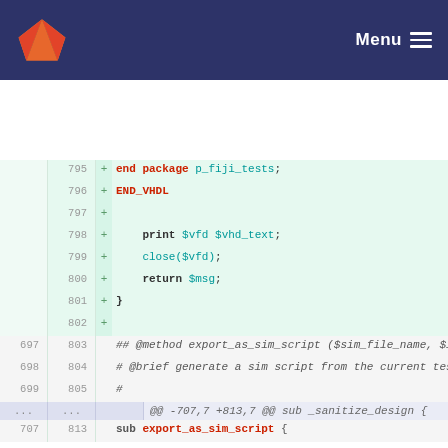GitLab Menu
[Figure (screenshot): Code diff view showing lines 795-813 of a file with added lines (+) in green and context lines in grey. Lines include VHDL end package, print, close, return statements, and Perl method documentation comments.]